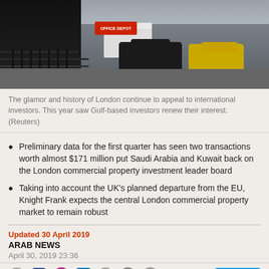[Figure (photo): Street scene in London showing black taxis and other vehicles on a city road, with buildings in the background. A yellow taxi is visible on the right.]
The glamor and history of London continue to appeal to international investors. This year saw Gulf-based investors renew their interest. (Reuters)
Preliminary data for the first quarter has seen two transactions worth almost $171 million put Saudi Arabia and Kuwait back on the London commercial property investment leader board
Taking into account the UK's planned departure from the EU, Knight Frank expects the central London commercial property market to remain robust
Updated 30 April 2019
ARAB NEWS
April 30, 2019 23:36